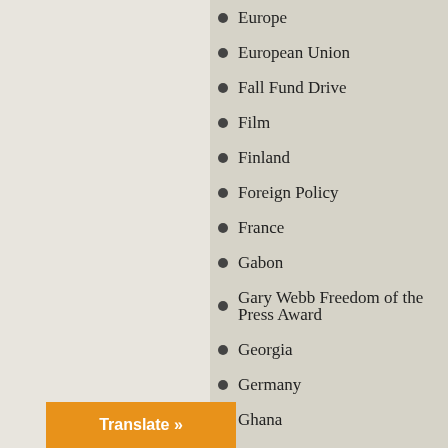Europe
European Union
Fall Fund Drive
Film
Finland
Foreign Policy
France
Gabon
Gary Webb Freedom of the Press Award
Georgia
Germany
Ghana
Great Britain
Greece
Guatemala
Gulf States
Gun Violence
Guns
Haiti